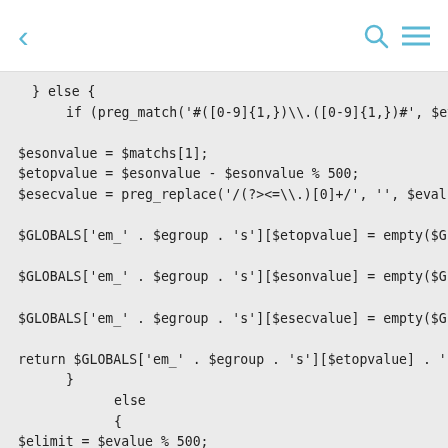← □□□□ 🔍 ≡
} else {
    if (preg_match('#([0-9]{1,})\.([0-9]{1,})#', $evalue, $matchs)) {

$esonvalue = $matchs[1];
$etopvalue = $esonvalue - $esonvalue % 500;
$esecvalue = preg_replace('/(?><=\.) [0]+/', '', $evalue);

$GLOBALS['em_' . $egroup . 's'][$etopvalue] = empty($GLOBALS['em_' . $egroup...

$GLOBALS['em_' . $egroup . 's'][$esonvalue] = empty($GLOBALS['em_' . $egroup...

$GLOBALS['em_' . $egroup . 's'][$esecvalue] = empty($GLOBALS['em_' . $egroup...

return $GLOBALS['em_' . $egroup . 's'][$etopvalue] . ' - ' . $GLOBALS['em_' . $eg...
        }
                else
                {
$elimit = $evalue % 500;
$erevalue = $evalue - $elimit;
$GLOBALS['em_' . $egroup . 's'][$erevalue] = empty($GLOBALS['em_' . $egroup...